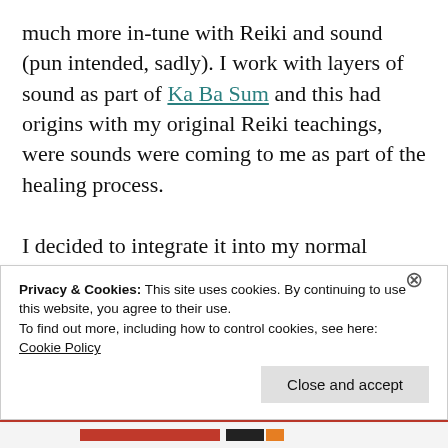much more in-tune with Reiki and sound (pun intended, sadly). I work with layers of sound as part of Ka Ba Sum and this had origins with my original Reiki teachings, were sounds were coming to me as part of the healing process.

I decided to integrate it into my normal everyday Reiki practice. I feel drawn to offer this now as an exclusive separate treatment, with intuitive sound. I will continue to use sounds when they come up as part of my
Privacy & Cookies: This site uses cookies. By continuing to use this website, you agree to their use.
To find out more, including how to control cookies, see here: Cookie Policy